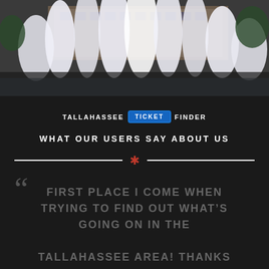[Figure (photo): Outdoor fountain with white water jets in front of a large brick building, trees in background]
[Figure (logo): Tallahassee Ticket Finder logo — TALLAHASSEE in white, TICKET in blue rounded rectangle badge, FINDER in white]
WHAT OUR USERS SAY ABOUT US
“FIRST PLACE I COME WHEN TRYING TO FIND OUT WHAT’S GOING ON IN THE TALLAHASSEE AREA! THANKS TALLAHASSEE TICKET FINDER